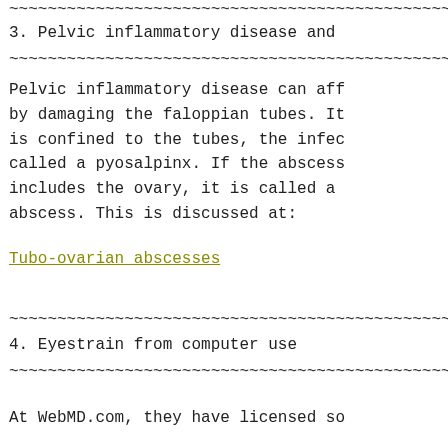~~~~~~~~~~~~~~~~~~~~~~~~~~~~~~~~~~~~~~~~~~~~~~~~~~~
3. Pelvic inflammatory disease and
~~~~~~~~~~~~~~~~~~~~~~~~~~~~~~~~~~~~~~~~~~~~~~~~~~~
Pelvic inflammatory disease can aff by damaging the faloppian tubes. It is confined to the tubes, the infec called a pyosalpinx. If the abscess includes the ovary, it is called a abscess. This is discussed at:
Tubo-ovarian abscesses
~~~~~~~~~~~~~~~~~~~~~~~~~~~~~~~~~~~~~~~~~~~~~~~~~~~
4. Eyestrain from computer use
~~~~~~~~~~~~~~~~~~~~~~~~~~~~~~~~~~~~~~~~~~~~~~~~~~~
At WebMD.com, they have licensed so